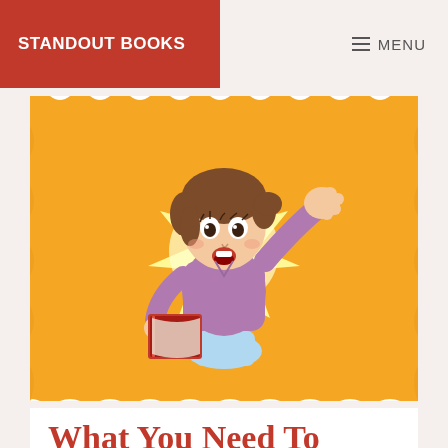STANDOUT BOOKS | MENU
[Figure (illustration): Cartoon illustration of a girl with brown hair holding a red book, raising one arm, with a yellow starburst glow behind her on an orange wavy-bordered background.]
What You Need To Know About